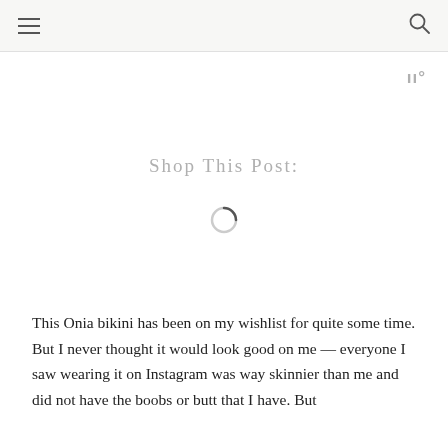≡  🔍
[Figure (logo): Logo mark with stylized 'W' letters followed by a degree symbol, in gray]
Shop This Post:
[Figure (other): Loading spinner (circular arc indicating content is loading)]
This Onia bikini has been on my wishlist for quite some time. But I never thought it would look good on me — everyone I saw wearing it on Instagram was way skinnier than me and did not have the boobs or butt that I have. But